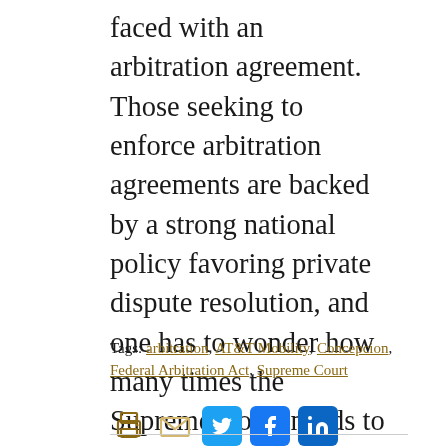faced with an arbitration agreement. Those seeking to enforce arbitration agreements are backed by a strong national policy favoring private dispute resolution, and one has to wonder how many times the Supreme Court needs to reiterate this axiom before it resonates with all.
Tags: arbitration, AT&T Mobility, Concepcion, Federal Arbitration Act, Supreme Court
[Figure (infographic): Social sharing icons: print (gold printer icon), email (gold envelope icon), Twitter (blue bird icon), Facebook (blue f icon), LinkedIn (blue in icon)]